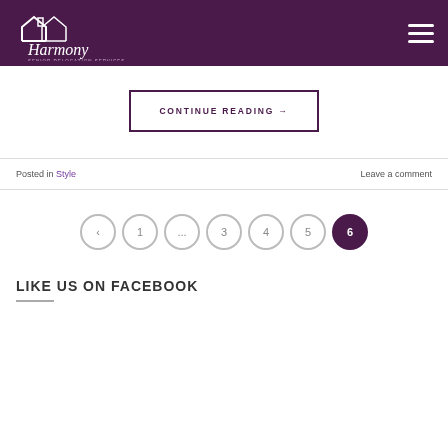[Figure (logo): Harmony Senior Relocation Services logo — white house/cursive text on dark purple background]
CONTINUE READING →
Posted in Style    Leave a comment
[Figure (other): Pagination buttons: < 1 ... 3 4 5 6(active)]
LIKE US ON FACEBOOK